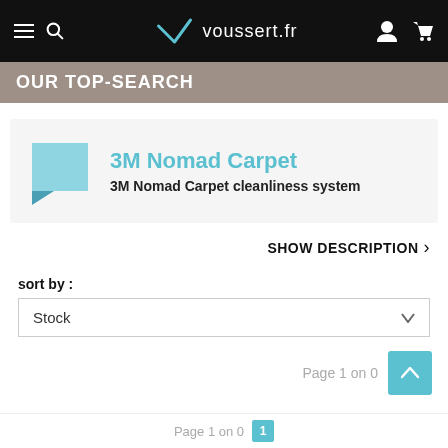voussert.fr — navigation header
OUR TOP-SEARCH
[Figure (other): 3M Nomad Carpet product thumbnail — light blue folded tag/ribbon graphic]
3M Nomad Carpet
3M Nomad Carpet cleanliness system
SHOW DESCRIPTION >
sort by :
Stock
Page 1 on 0
No product matches for your search
Page 1 on 0  1